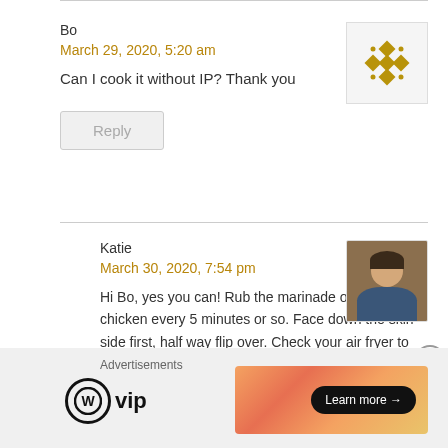Bo
March 29, 2020, 5:20 am
Can I cook it without IP? Thank you
Reply
Katie
March 30, 2020, 7:54 pm
Hi Bo, yes you can! Rub the marinade onto the chicken every 5 minutes or so. Face down the skin side first, half way flip over. Check your air fryer to
Advertisements
[Figure (logo): WordPress VIP logo with circle W icon and 'vip' text]
[Figure (infographic): Advertisement banner with pink/orange gradient and 'Learn more' button]